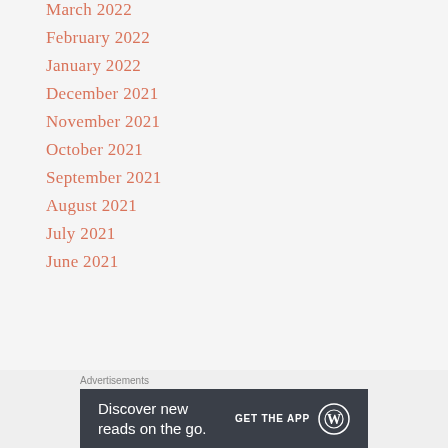March 2022
February 2022
January 2022
December 2021
November 2021
October 2021
September 2021
August 2021
July 2021
June 2021
Advertisements
[Figure (other): WordPress advertisement banner: 'Discover new reads on the go. GET THE APP' with WordPress logo on dark background]